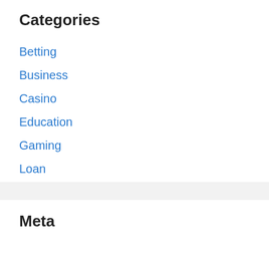Categories
Betting
Business
Casino
Education
Gaming
Loan
Sports
Uncategorized
Meta